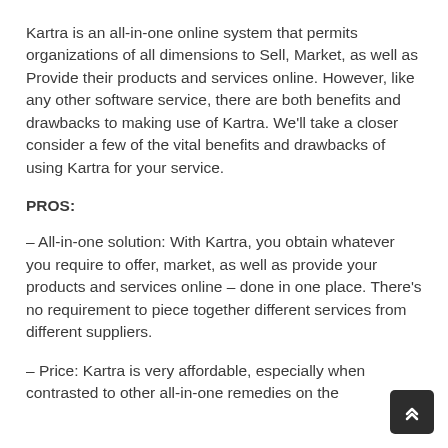Kartra is an all-in-one online system that permits organizations of all dimensions to Sell, Market, as well as Provide their products and services online. However, like any other software service, there are both benefits and drawbacks to making use of Kartra. We'll take a closer consider a few of the vital benefits and drawbacks of using Kartra for your service.
PROS:
– All-in-one solution: With Kartra, you obtain whatever you require to offer, market, as well as provide your products and services online – done in one place. There's no requirement to piece together different services from different suppliers.
– Price: Kartra is very affordable, especially when contrasted to other all-in-one remedies on the